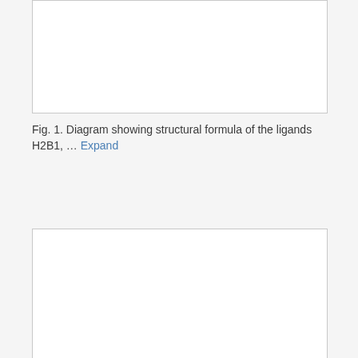[Figure (other): Empty white rectangular box representing a figure placeholder (top figure, partially visible at top of page)]
Fig. 1. Diagram showing structural formula of the ligands H2B1, ... Expand
[Figure (other): Empty white rectangular box representing a figure placeholder (bottom figure, partially visible at bottom of page)]